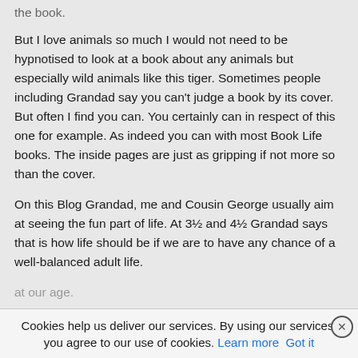the book.
But I love animals so much I would not need to be hypnotised to look at a book about any animals but especially wild animals like this tiger. Sometimes people including Grandad say you can't judge a book by its cover. But often I find you can. You certainly can in respect of this one for example. As indeed you can with most Book Life books. The inside pages are just as gripping if not more so than the cover.
On this Blog Grandad, me and Cousin George usually aim at seeing the fun part of life. At 3½ and 4½ Grandad says that is how life should be if we are to have any chance of a well-balanced adult life.
Cookies help us deliver our services. By using our services, you agree to our use of cookies. Learn more Got it
at our age.